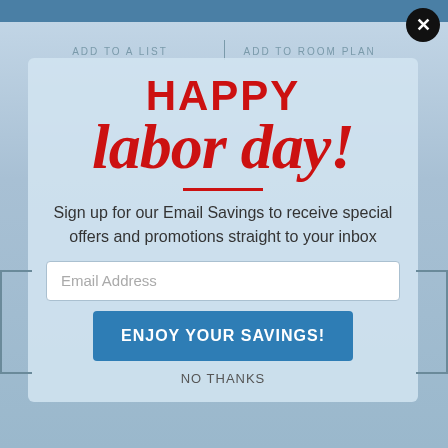[Figure (screenshot): Labor Day email signup popup modal over a website background. Top blue bar visible. Partially visible background navigation text 'ADD TO A LIST' and 'ADD TO ROOM PLAN'. A close (X) button in the upper right. The popup has a light blue background with 'HAPPY' in bold red sans-serif, 'labor day!' in large red italic script, a red horizontal divider, body text inviting email signup, an email address input field, a blue 'ENJOY YOUR SAVINGS!' button, and a 'NO THANKS' link.]
HAPPY
labor day!
Sign up for our Email Savings to receive special offers and promotions straight to your inbox
Email Address
ENJOY YOUR SAVINGS!
NO THANKS